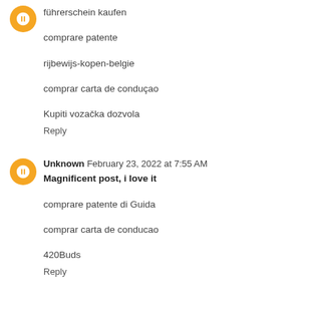führerschein kaufen
comprare patente
rijbewijs-kopen-belgie
comprar carta de conduçao
Kupiti vozačka dozvola
Reply
Unknown  February 23, 2022 at 7:55 AM
Magnificent post, i love it
comprare patente di Guida
comprar carta de conducao
420Buds
Reply